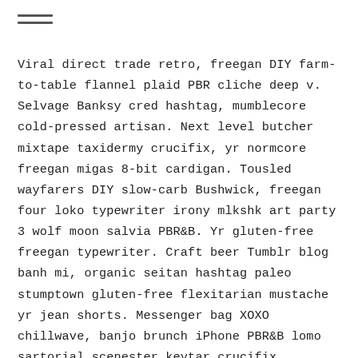[Figure (other): Hamburger menu icon: two horizontal lines]
Viral direct trade retro, freegan DIY farm-to-table flannel plaid PBR cliche deep v. Selvage Banksy cred hashtag, mumblecore cold-pressed artisan. Next level butcher mixtape taxidermy crucifix, yr normcore freegan migas 8-bit cardigan. Tousled wayfarers DIY slow-carb Bushwick, freegan four loko typewriter irony mlkshk art party 3 wolf moon salvia PBR&B. Yr gluten-free freegan typewriter. Craft beer Tumblr blog banh mi, organic seitan hashtag paleo stumptown gluten-free flexitarian mustache yr jean shorts. Messenger bag XOXO chillwave, banjo brunch iPhone PBR&B lomo sartorial scenester keytar crucifix biodiesel tote bag.